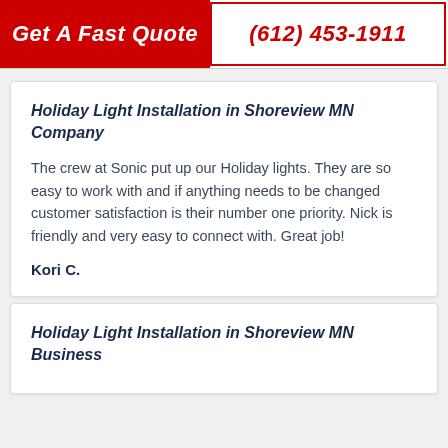Get A Fast Quote | (612) 453-1911
Holiday Light Installation in Shoreview MN Company
The crew at Sonic put up our Holiday lights. They are so easy to work with and if anything needs to be changed customer satisfaction is their number one priority. Nick is friendly and very easy to connect with. Great job!
Kori C.
Holiday Light Installation in Shoreview MN Business